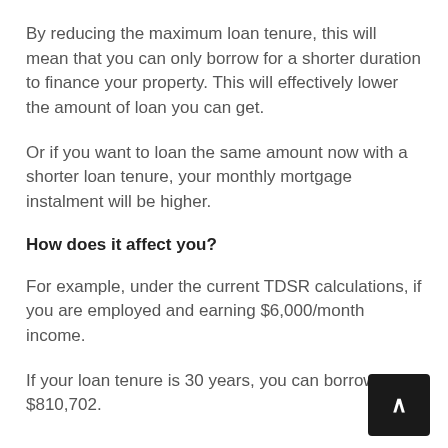By reducing the maximum loan tenure, this will mean that you can only borrow for a shorter duration to finance your property. This will effectively lower the amount of loan you can get.
Or if you want to loan the same amount now with a shorter loan tenure, your monthly mortgage instalment will be higher.
How does it affect you?
For example, under the current TDSR calculations, if you are employed and earning $6,000/month income.
If your loan tenure is 30 years, you can borrow up to $810,702.